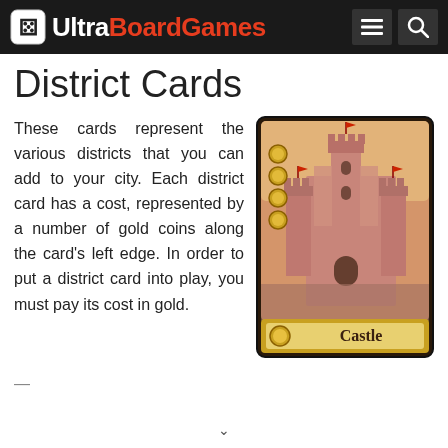Ultra BoardGames
District Cards
These cards represent the various districts that you can add to your city. Each district card has a cost, represented by a number of gold coins along the card's left edge. In order to put a district card into play, you must pay its cost in gold.
[Figure (illustration): A fantasy castle district card with gold coin icons on the left edge and a banner at the bottom labeled 'Castle'. The card shows a medieval castle illustration in warm golden/pink tones.]
— (truncated text line)